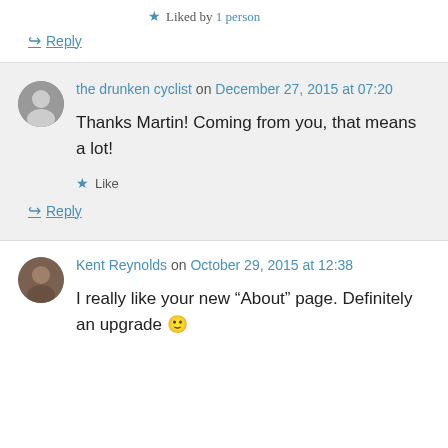★ Liked by 1 person
↳ Reply
the drunken cyclist on December 27, 2015 at 07:20
Thanks Martin! Coming from you, that means a lot!
★ Like
↳ Reply
Kent Reynolds on October 29, 2015 at 12:38
I really like your new “About” page. Definitely an upgrade 🙂